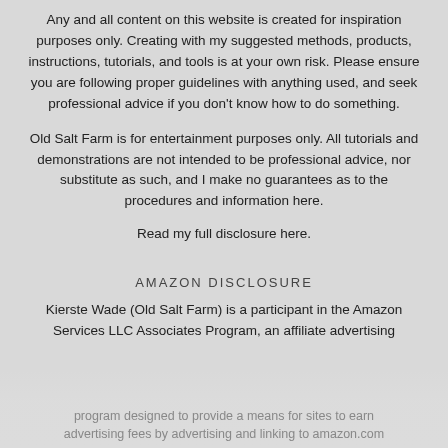Any and all content on this website is created for inspiration purposes only. Creating with my suggested methods, products, instructions, tutorials, and tools is at your own risk. Please ensure you are following proper guidelines with anything used, and seek professional advice if you don't know how to do something.
Old Salt Farm is for entertainment purposes only. All tutorials and demonstrations are not intended to be professional advice, nor substitute as such, and I make no guarantees as to the procedures and information here.
Read my full disclosure here.
AMAZON DISCLOSURE
Kierste Wade (Old Salt Farm) is a participant in the Amazon Services LLC Associates Program, an affiliate advertising program designed to provide a means for sites to earn advertising fees by advertising and linking to amazon.com